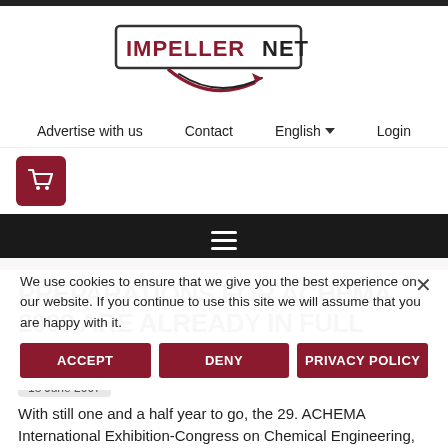[Figure (logo): ImpellerNet logo — rectangular border with IMPELLER in red bold caps and NET in black, with a red/black curved arrow arc below]
Advertise with us   Contact   English ▼   Login
[Figure (illustration): Shopping cart icon in white on dark red/maroon square background]
[Figure (infographic): Hamburger menu icon (three horizontal lines) on black background bar]
PREPARATIONS FOR ACHEMA 2009 ARE ALREADY IN FULL SWING
18 June 2007
With still one and a half year to go, the 29. ACHEMA International Exhibition-Congress on Chemical Engineering, Environmental Protection and Biotechnology, the world's
We use cookies to ensure that we give you the best experience on our website. If you continue to use this site we will assume that you are happy with it.